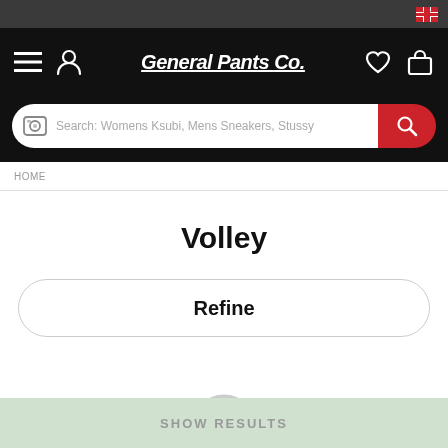[Figure (screenshot): Top grey status bar with Canadian flag icon on the right]
General Pants Co.
[Figure (screenshot): Search bar with camera icon and placeholder text: Search: Womens Ksubi, Mens Sneakers, Stussy, and red search button]
HOME
Volley
Refine
[Figure (other): Loading spinner circle, partially red indicating loading state]
SHOW RESULTS